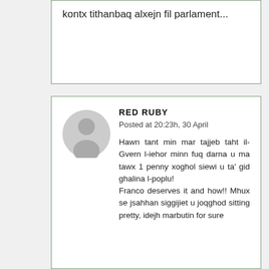kontx tithanbaq alxejn fil parlament...
RED RUBY
Posted at 20:23h, 30 April
Hawn tant min mar tajjeb taht il-Gvern l-iehor minn fuq darna u ma tawx 1 penny xoghol siewi u ta' gid ghalina l-poplu!
Franco deserves it and how!! Mhux se jsahhan siggijiet u joqghod sitting pretty, idejh marbutin for sure